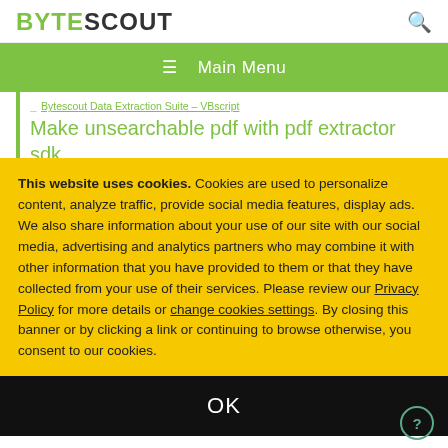BYTESCOUT
≡  Main Menu
Bytescout Data Extraction Suite – VBscript Make unsearchable pdf with pdf extractor sdk
This website uses cookies. Cookies are used to personalize content, analyze traffic, provide social media features, display ads. We also share information about your use of our site with our social media, advertising and analytics partners who may combine it with other information that you have provided to them or that they have collected from your use of their services. Please review our Privacy Policy for more details or change cookies settings. By closing this banner or by clicking a link or continuing to browse otherwise, you consent to our cookies.
OK